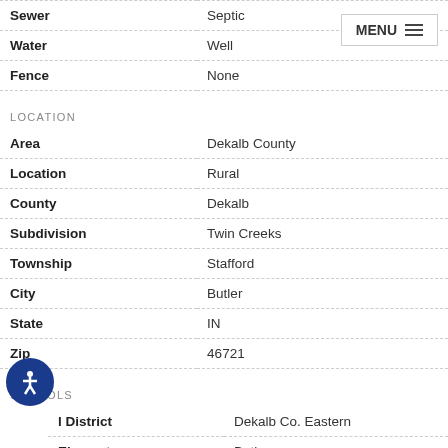| Field | Value |
| --- | --- |
| Sewer | Septic |
| Water | Well |
| Fence | None |
LOCATION
| Field | Value |
| --- | --- |
| Area | Dekalb County |
| Location | Rural |
| County | Dekalb |
| Subdivision | Twin Creeks |
| Township | Stafford |
| City | Butler |
| State | IN |
| Zip | 46721 |
SCHOOLS
| Field | Value |
| --- | --- |
| l District | Dekalb Co. Eastern |
| Elementary | Butler |